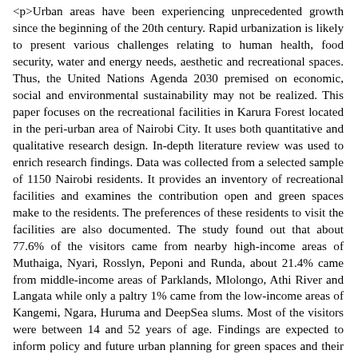<p>Urban areas have been experiencing unprecedented growth since the beginning of the 20th century. Rapid urbanization is likely to present various challenges relating to human health, food security, water and energy needs, aesthetic and recreational spaces. Thus, the United Nations Agenda 2030 premised on economic, social and environmental sustainability may not be realized. This paper focuses on the recreational facilities in Karura Forest located in the peri-urban area of Nairobi City. It uses both quantitative and qualitative research design. In-depth literature review was used to enrich research findings. Data was collected from a selected sample of 1150 Nairobi residents. It provides an inventory of recreational facilities and examines the contribution open and green spaces make to the residents. The preferences of these residents to visit the facilities are also documented. The study found out that about 77.6% of the visitors came from nearby high-income areas of Muthaiga, Nyari, Rosslyn, Peponi and Runda, about 21.4% came from middle-income areas of Parklands, Mlolongo, Athi River and Langata while only a paltry 1% came from the low-income areas of Kangemi, Ngara, Huruma and DeepSea slums. Most of the visitors were between 14 and 52 years of age. Findings are expected to inform policy and future urban planning for green spaces and their recreational value. To ensure sustainable development in the future, there is need to preserve the existing open and recreational green facilities in Nairobi. Both the County and National Governments should formulate and implement the Sustainable Karen Cities Policy t...